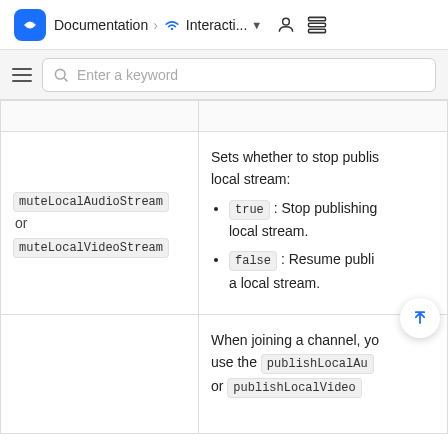Documentation > Interacti... ▼
| Parameter | Description |
| --- | --- |
| muteLocalAudioStream or muteLocalVideoStream | Sets whether to stop publishing the local stream:
• true: Stop publishing the local stream.
• false: Resume publishing a local stream. |
|  | When joining a channel, you use the publishLocalAu or publishLocalVideo |